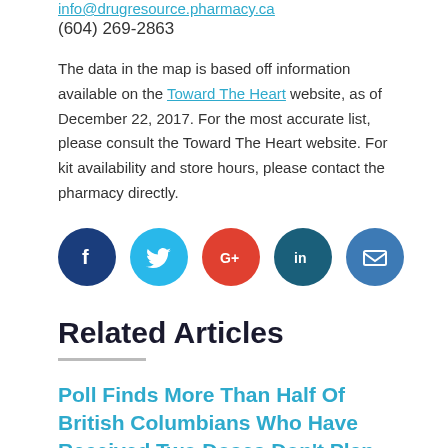info@drugresource.pharmacy.ca
(604) 269-2863
The data in the map is based off information available on the Toward The Heart website, as of December 22, 2017. For the most accurate list, please consult the Toward The Heart website. For kit availability and store hours, please contact the pharmacy directly.
[Figure (infographic): Row of five social media share buttons: Facebook (dark blue), Twitter (light blue), Google+ (red), LinkedIn (dark teal), Email (blue).]
Related Articles
Poll Finds More Than Half Of British Columbians Who Have Received Two Doses Don't Plan To Get Their Booster Immediately